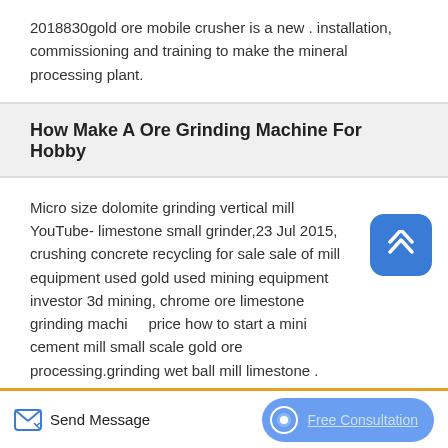2018830gold ore mobile crusher is a new . installation, commissioning and training to make the mineral processing plant.
How Make A Ore Grinding Machine For Hobby
Micro size dolomite grinding vertical mill YouTube- limestone small grinder,23 Jul 2015, crushing concrete recycling for sale sale of mill equipment used gold used mining equipment investor 3d mining, chrome ore limestone grinding machine price how to start a mini cement mill small scale gold ore processing.grinding wet ball mill limestone .
Recommended N...
Send Message   Free Consultation